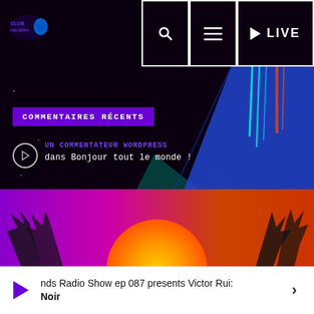[Figure (screenshot): Radio website header with logo on the left and navigation buttons (search, hamburger menu, LIVE) on the right on black background]
COMMENTAIRES RÉCENTS
[Figure (illustration): Dark sci-fi / synthwave background with geometric shapes, neon lines, and blue textured triangle area]
UN COMMENTATEUR WORDPRESS
dans Bonjour tout le monde !
UPCOMING SHOWS
CHART
[Figure (illustration): Purple to orange gradient sunset scene with large orange sun circle and palm tree silhouettes]
nds Radio Show ep 087 presents Victor Rui: Noir